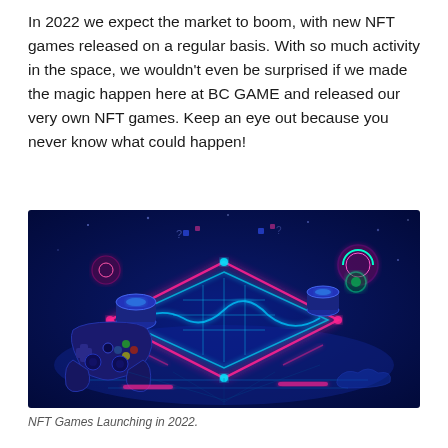In 2022 we expect the market to boom, with new NFT games released on a regular basis. With so much activity in the space, we wouldn't even be surprised if we made the magic happen here at BC GAME and released our very own NFT games. Keep an eye out because you never know what could happen!
[Figure (illustration): A futuristic glowing neon gaming illustration on a dark blue background featuring a game controller on the left, a illuminated diamond/rhombus shape with neon blue outlines in the center with glowing circuit board patterns, pink and green circular UI elements, and cylindrical objects. The overall color scheme is deep blue with cyan, pink, and green neon accents.]
NFT Games Launching in 2022.